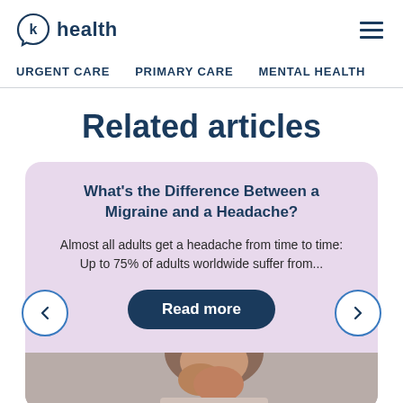k health
URGENT CARE
PRIMARY CARE
MENTAL HEALTH
Related articles
What's the Difference Between a Migraine and a Headache?
Almost all adults get a headache from time to time: Up to 75% of adults worldwide suffer from...
Read more
[Figure (photo): Photo of a woman with curly hair holding her face in her hands, appearing to be in pain, cropped at bottom]